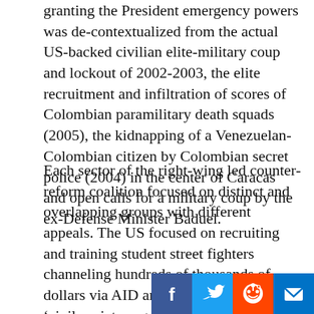granting the President emergency powers was de-contextualized from the actual US-backed civilian elite-military coup and lockout of 2002-2003, the elite recruitment and infiltration of scores of Colombian paramilitary death squads (2005), the kidnapping of a Venezuelan-Colombian citizen by Colombian secret police (2004) in the center of Caracas and open calls for a military coup by the ex-Defense Minister Baduel.
Each sector of the right-wing led counter-reform coalition focused on distinct and overlapping groups with different appeals. The US focused on recruiting and training student street fighters channeling hundreds of thousands of dollars via AID and NED for training in 'civil society organization' and 'conflict resolution' (a touch of dark humor?) in the same fashion as the Yugoslav/Ukrainian/Georgian experiences. The US also spread funds to their long-term clients–the nearly defunct 'social democratic' trade union confederation–the CTV, [and on]